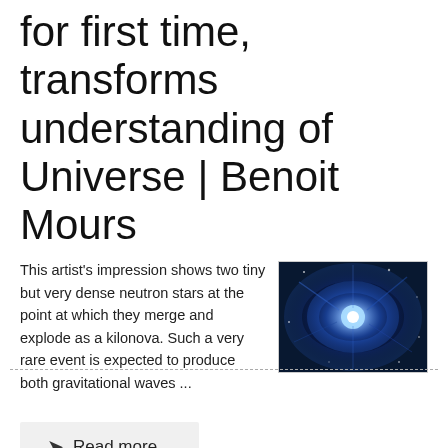for first time, transforms understanding of Universe | Benoit Mours
This artist's impression shows two tiny but very dense neutron stars at the point at which they merge and explode as a kilonova. Such a very rare event is expected to produce both gravitational waves ...
[Figure (photo): Artist's impression of two neutron stars merging, shown as a bright blue/white light burst against a dark background with blue energy tendrils]
Read more...